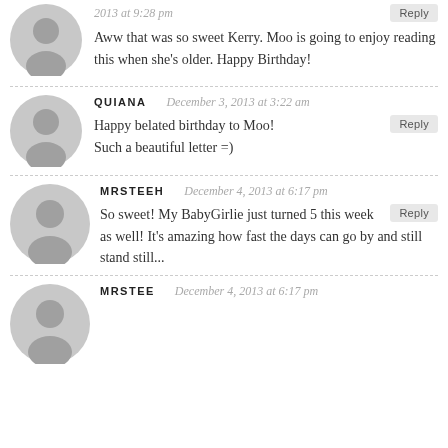2013 at 9:28 pm
Aww that was so sweet Kerry. Moo is going to enjoy reading this when she's older. Happy Birthday!
QUIANA   December 3, 2013 at 3:22 am
Happy belated birthday to Moo! Such a beautiful letter =)
MRSTEEH   December 4, 2013 at 6:17 pm
So sweet! My BabyGirlie just turned 5 this week as well! It's amazing how fast the days can go by and still stand still...
MRSTEE   December 4, 2013 at 6:17 pm